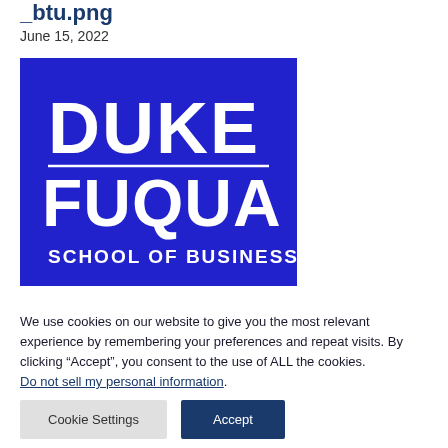_btu.png
June 15, 2022
[Figure (logo): Duke Fuqua School of Business logo — blue square background with white text reading DUKE, a horizontal line, FUQUA, and SCHOOL OF BUSINESS]
We use cookies on our website to give you the most relevant experience by remembering your preferences and repeat visits. By clicking “Accept”, you consent to the use of ALL the cookies. Do not sell my personal information.
Cookie Settings
Accept